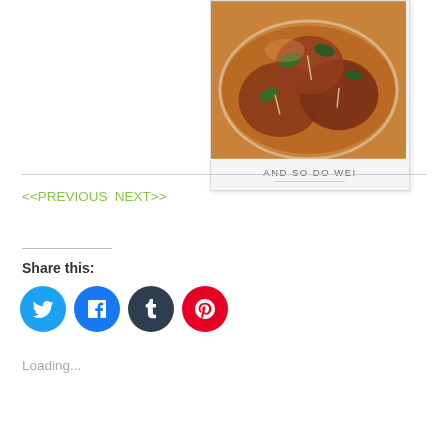[Figure (photo): Polaroid-style photo card showing cooked meat (appears to be saltimbocca or similar Italian dish) with sage leaves and toothpicks in a sauce, on a white plate. Caption reads 'AND SO DO WE!' with a decorative underline.]
<<PREVIOUS  NEXT>>
Share this:
[Figure (other): Row of four social media share buttons: Twitter (blue bird), Facebook (blue f), Tumblr (dark navy t), Pinterest (red P)]
Loading...